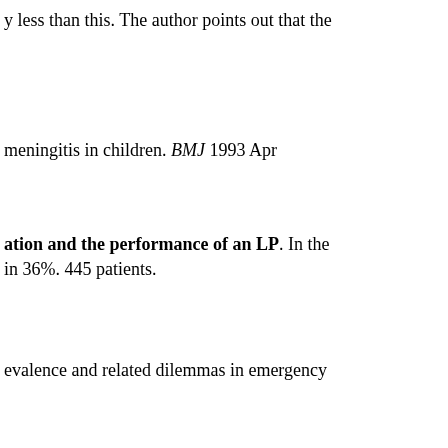y less than this. The author points out that the
meningitis in children. BMJ 1993 Apr
ation and the performance of an LP. In the in 36%. 445 patients.
evalence and related dilemmas in emergency